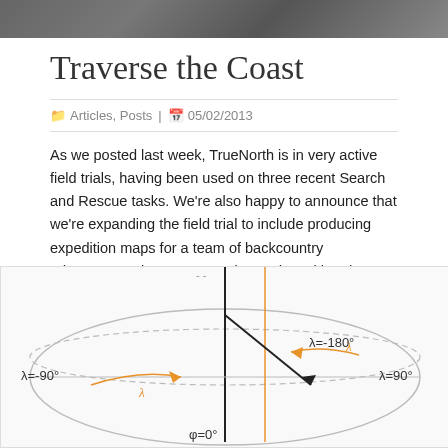[Figure (photo): Top partial image, dark outdoor/landscape photo cropped at top of page]
Traverse the Coast
Articles, Posts | 05/02/2013
As we posted last week, TrueNorth is in very active field trials, having been used on three recent Search and Rescue tasks. We're also happy to announce that we're expanding the field trial to include producing expedition maps for a team of backcountry adventurers who are attempting to do a ski and packraft traverse of the Coast ...
Read more »
[Figure (engineering-diagram): Geometric diagram of a globe/sphere showing longitude lines with labels λ=-90°, λ=-180°, λ=90°, φ=0°, and orange arrows indicating direction along latitude circles, with dashed ellipse and vertical/horizontal lines through center.]